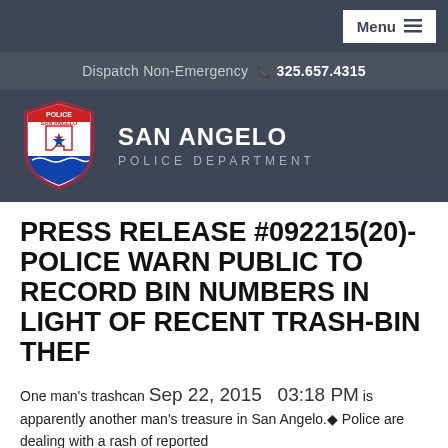Menu
Dispatch Non-Emergency 325.657.4315
[Figure (logo): San Angelo Police Department shield badge logo with text POLICE SAN ANGELO and Texas map with star]
SAN ANGELO POLICE DEPARTMENT
PRESS RELEASE #092215(20)- POLICE WARN PUBLIC TO RECORD BIN NUMBERS IN LIGHT OF RECENT TRASH-BIN THEF
One man's trashcan Sep 22, 2015   03:18 PM is apparently another man's treasure in San Angelo.◆ Police are dealing with a rash of reported